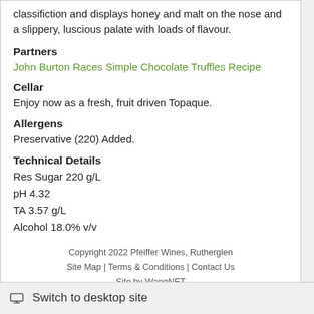classifiction and displays honey and malt on the nose and a slippery, luscious palate with loads of flavour.
Partners
John Burton Races Simple Chocolate Truffles Recipe
Cellar
Enjoy now as a fresh, fruit driven Topaque.
Allergens
Preservative (220) Added.
Technical Details
Res Sugar 220 g/L
pH 4.32
TA 3.57 g/L
Alcohol 18.0% v/v
Copyright 2022 Pfeiffer Wines, Rutherglen
Site Map | Terms & Conditions | Contact Us
Site by WangNET
Switch to desktop site